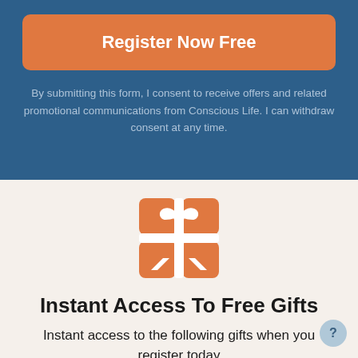Register Now Free
By submitting this form, I consent to receive offers and related promotional communications from Conscious Life. I can withdraw consent at any time.
[Figure (logo): Orange gift box icon with white ribbon bow on cream background]
Instant Access To Free Gifts
Instant access to the following gifts when you register today